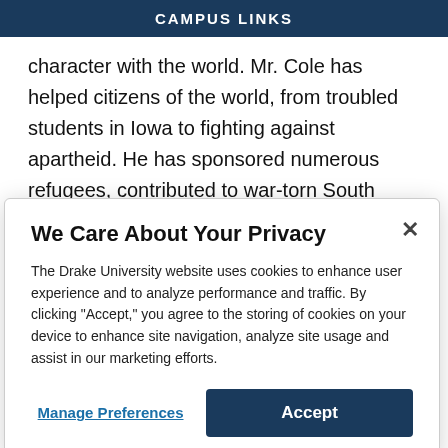CAMPUS LINKS
character with the world. Mr. Cole has helped citizens of the world, from troubled students in Iowa to fighting against apartheid. He has sponsored numerous refugees, contributed to war-torn South Sudan, attended the March on Washington, and helps with voter registration. Mr. Cole and his wife annually host a celebration to honor Dr. Martin Luther King
We Care About Your Privacy
The Drake University website uses cookies to enhance user experience and to analyze performance and traffic. By clicking "Accept," you agree to the storing of cookies on your device to enhance site navigation, analyze site usage and assist in our marketing efforts.
Manage Preferences
Accept